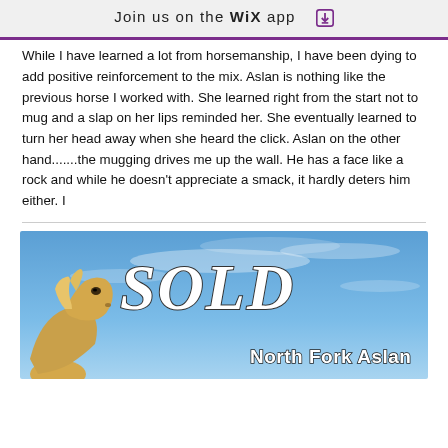Join us on the WiX app
While I have learned a lot from horsemanship, I have been dying to add positive reinforcement to the mix. Aslan is nothing like the previous horse I worked with. She learned right from the start not to mug and a slap on her lips reminded her. She eventually learned to turn her head away when she heard the click. Aslan on the other hand.......the mugging drives me up the wall. He has a face like a rock and while he doesn't appreciate a smack, it hardly deters him either. I
[Figure (illustration): Image with blue sky background showing the word SOLD in large italic white text with the caption 'North Fork Aslan' and a palomino horse head in the lower left corner]